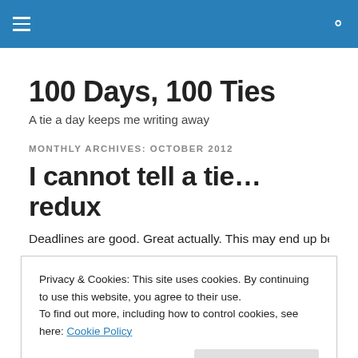100 Days, 100 Ties — navigation bar with hamburger menu and search icon
100 Days, 100 Ties
A tie a day keeps me writing away
MONTHLY ARCHIVES: OCTOBER 2012
I cannot tell a tie…redux
Deadlines are good. Great actually. This may end up being
Privacy & Cookies: This site uses cookies. By continuing to use this website, you agree to their use.
To find out more, including how to control cookies, see here: Cookie Policy
simple enough to see the data. I think it was. I had a